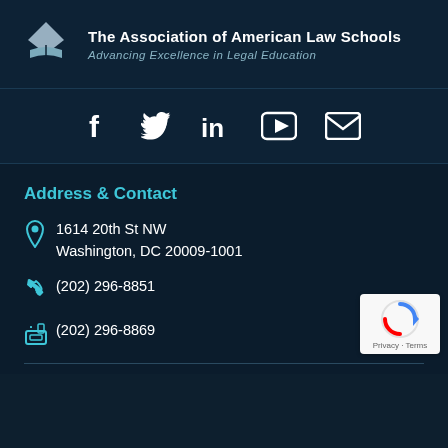[Figure (logo): The Association of American Law Schools logo with diamond/book shape icon, org name, and tagline 'Advancing Excellence in Legal Education']
[Figure (infographic): Social media icons: Facebook, Twitter, LinkedIn, YouTube, Email (envelope)]
Address & Contact
1614 20th St NW
Washington, DC 20009-1001
(202) 296-8851
(202) 296-8869